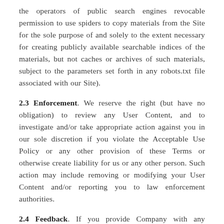the operators of public search engines revocable permission to use spiders to copy materials from the Site for the sole purpose of and solely to the extent necessary for creating publicly available searchable indices of the materials, but not caches or archives of such materials, subject to the parameters set forth in any robots.txt file associated with our Site).
2.3 Enforcement. We reserve the right (but have no obligation) to review any User Content, and to investigate and/or take appropriate action against you in our sole discretion if you violate the Acceptable Use Policy or any other provision of these Terms or otherwise create liability for us or any other person. Such action may include removing or modifying your User Content and/or reporting you to law enforcement authorities.
2.4 Feedback. If you provide Company with any feedback, suggestions, or other...